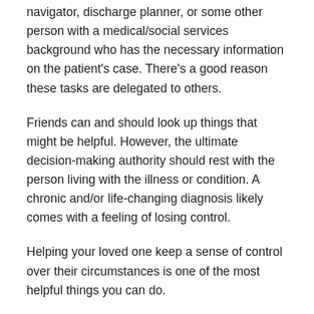navigator, discharge planner, or some other person with a medical/social services background who has the necessary information on the patient's case. There's a good reason these tasks are delegated to others.
Friends can and should look up things that might be helpful. However, the ultimate decision-making authority should rest with the person living with the illness or condition. A chronic and/or life-changing diagnosis likely comes with a feeling of losing control.
Helping your loved one keep a sense of control over their circumstances is one of the most helpful things you can do.
Share this: